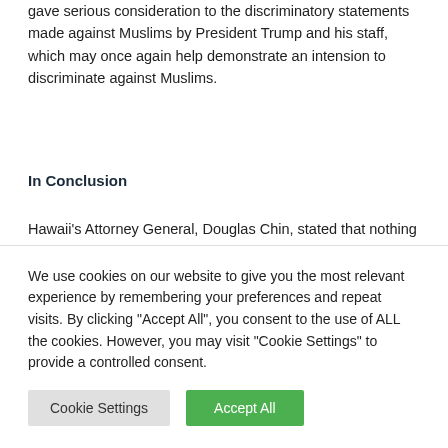gave serious consideration to the discriminatory statements made against Muslims by President Trump and his staff, which may once again help demonstrate an intension to discriminate against Muslims.
In Conclusion
Hawaii's Attorney General, Douglas Chin, stated that nothing of substance had changed in the revised Executive Order: "[t]here is the same blanket ban on entry from Muslim-majority countries (minus one) and the same sweeping shutdown of refugee admissions (absent one exception) and lawless warren of exceptions and waivers."[4]  While the revised Executive Order...
We use cookies on our website to give you the most relevant experience by remembering your preferences and repeat visits. By clicking "Accept All", you consent to the use of ALL the cookies. However, you may visit "Cookie Settings" to provide a controlled consent.